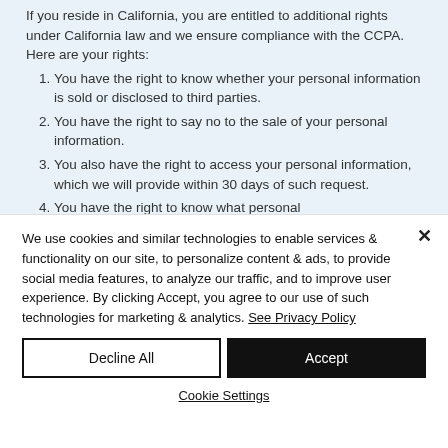If you reside in California, you are entitled to additional rights under California law and we ensure compliance with the CCPA. Here are your rights:
1. You have the right to know whether your personal information is sold or disclosed to third parties.
2. You have the right to say no to the sale of your personal information.
3. You also have the right to access your personal information, which we will provide within 30 days of such request.
4. You have the right to know what personal
We use cookies and similar technologies to enable services & functionality on our site, to personalize content & ads, to provide social media features, to analyze our traffic, and to improve user experience. By clicking Accept, you agree to our use of such technologies for marketing & analytics. See Privacy Policy
Decline All
Accept
Cookie Settings